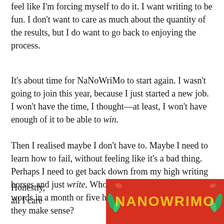feel like I'm forcing myself to do it. I want writing to be fun. I don't want to care as much about the quantity of the results, but I do want to go back to enjoying the process.
It's about time for NaNoWriMo to start again. I wasn't going to join this year, because I just started a new job. I won't have the time, I thought—at least, I won't have enough of it to be able to win.
Then I realised maybe I don't have to. Maybe I need to learn how to fail, without feeling like it's a bad thing. Perhaps I need to get back down from my high writing horses and just write. Who cares if it's fifty thousand words in a month or five hundred. Who even cares if they make sense?
Honestly, all I care
[Figure (photo): NaNoWriMo logo/banner on red background with yellow text and green leaf decorations]